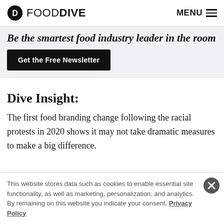FOOD DIVE  MENU
Be the smartest food industry leader in the room
Get the Free Newsletter
Dive Insight:
The first food branding change following the racial protests in 2020 shows it may not take dramatic measures to make a big difference.
This website stores data such as cookies to enable essential site functionality, as well as marketing, personalization, and analytics. By remaining on this website you indicate your consent. Privacy Policy